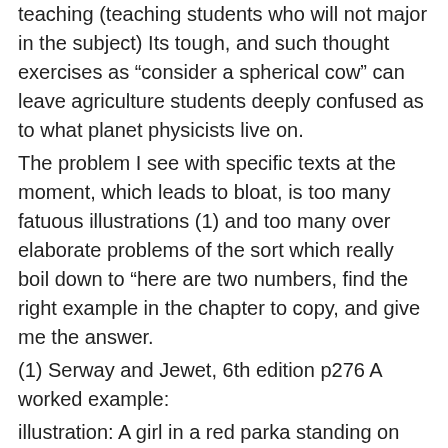teaching (teaching students who will not major in the subject) Its tough, and such thought exercises as “consider a spherical cow” can leave agriculture students deeply confused as to what planet physicists live on.
The problem I see with specific texts at the moment, which leads to bloat, is too many fatuous illustrations (1) and too many over elaborate problems of the sort which really boil down to “here are two numbers, find the right example in the chapter to copy, and give me the answer.
(1) Serway and Jewet, 6th edition p276 A worked example:
illustration: A girl in a red parka standing on ice with an unconscious polar bear on the end of a